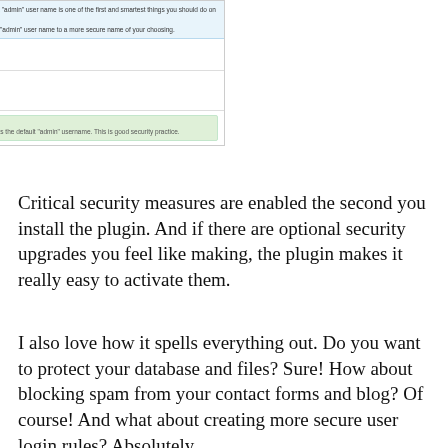[Figure (screenshot): WordPress admin security plugin screenshot showing 'List of Administrator Accounts', 'Account Login Name', 'Change Admin Username' sections with input fields, and a green success box reading 'No action required! Your site does not have any account which uses the default admin username. This is good security practice.']
Critical security measures are enabled the second you install the plugin. And if there are optional security upgrades you feel like making, the plugin makes it really easy to activate them.
I also love how it spells everything out. Do you want to protect your database and files? Sure! How about blocking spam from your contact forms and blog? Of course! And what about creating more secure user login rules? Absolutely.